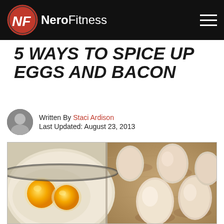NerdFitness
5 WAYS TO SPICE UP EGGS AND BACON
Written By Staci Ardison
Last Updated: August 23, 2013
[Figure (photo): Photo of cracked eggs with yolks in a white bowl on the left, and whole beige/brown eggs on a wooden surface on the right.]